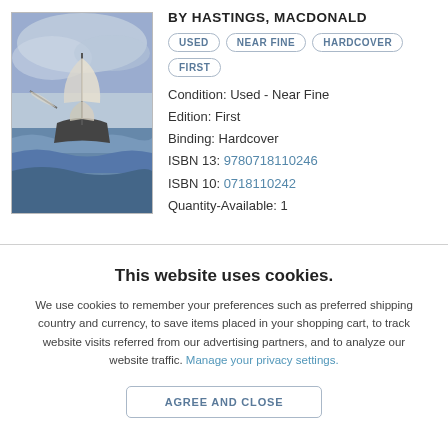[Figure (photo): Book cover showing a sailing ship on rough seas, with stormy sky and waves]
BY HASTINGS, MACDONALD
USED  NEAR FINE  HARDCOVER  FIRST
Condition:  Used - Near Fine
Edition:  First
Binding:  Hardcover
ISBN 13:  9780718110246
ISBN 10:  0718110242
Quantity-Available:  1
This website uses cookies.
We use cookies to remember your preferences such as preferred shipping country and currency, to save items placed in your shopping cart, to track website visits referred from our advertising partners, and to analyze our website traffic. Manage your privacy settings.
AGREE AND CLOSE